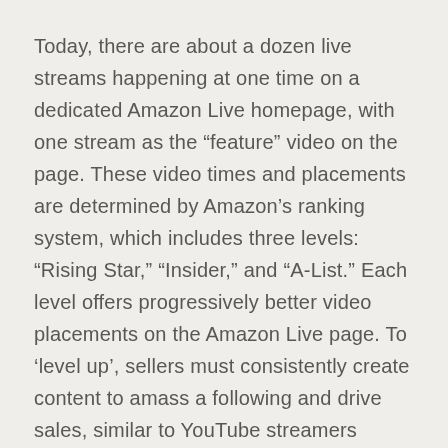Today, there are about a dozen live streams happening at one time on a dedicated Amazon Live homepage, with one stream as the “feature” video on the page. These video times and placements are determined by Amazon’s ranking system, which includes three levels: “Rising Star,” “Insider,” and “A-List.” Each level offers progressively better video placements on the Amazon Live page. To ‘level up’, sellers must consistently create content to amass a following and drive sales, similar to YouTube streamers looking to build their subscriber base.
Users must either be a brand registered seller, a U.S. vendor with an approved Amazon store, or an Amazon influencer with an active